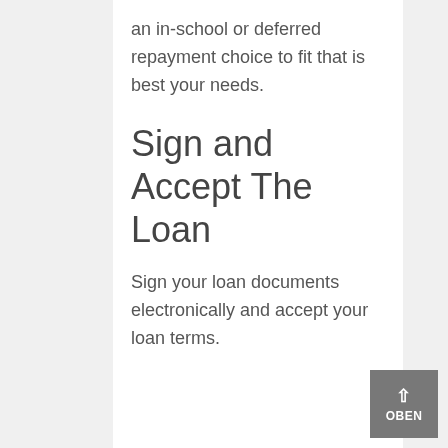an in-school or deferred repayment choice to fit that is best your needs.
Sign and Accept The Loan
Sign your loan documents electronically and accept your loan terms.